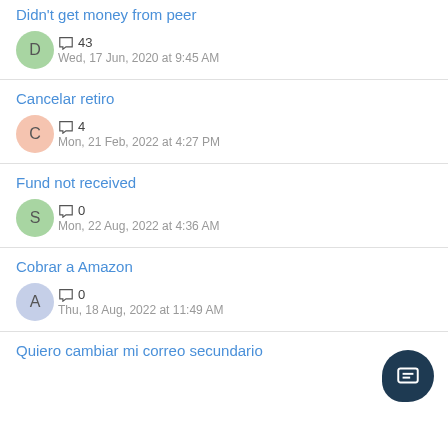Didn't get money from peer | D | 43 comments | Wed, 17 Jun, 2020 at 9:45 AM
Cancelar retiro | C | 4 comments | Mon, 21 Feb, 2022 at 4:27 PM
Fund not received | S | 0 comments | Mon, 22 Aug, 2022 at 4:36 AM
Cobrar a Amazon | A | 0 comments | Thu, 18 Aug, 2022 at 11:49 AM
Quiero cambiar mi correo secundario